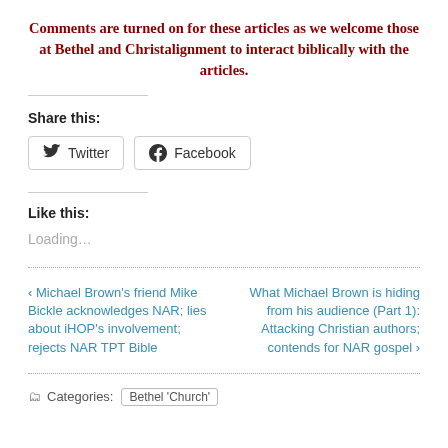Comments are turned on for these articles as we welcome those at Bethel and Christalignment to interact biblically with the articles.
Share this:
[Figure (other): Twitter and Facebook share buttons]
Like this:
Loading...
‹ Michael Brown's friend Mike Bickle acknowledges NAR; lies about iHOP's involvement; rejects NAR TPT Bible
What Michael Brown is hiding from his audience (Part 1): Attacking Christian authors; contends for NAR gospel ›
Categories:  Bethel 'Church'